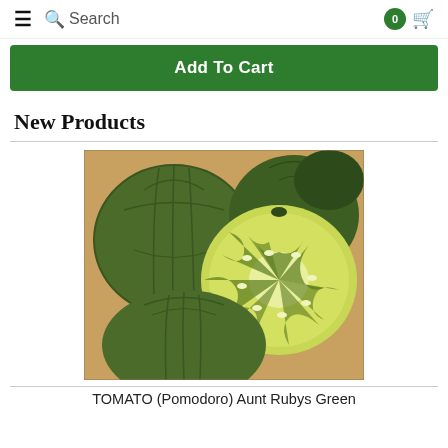≡ 🔍 Search  0 🛒
Add To Cart
New Products
[Figure (photo): Green tomatoes (Aunt Rubys Green variety) — several whole tomatoes and one cut in half showing the interior, placed on a brown surface.]
TOMATO (Pomodoro) Aunt Rubys Green